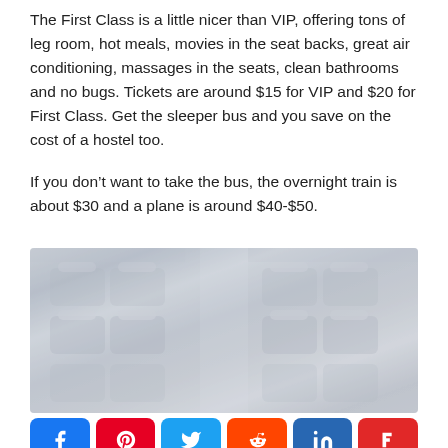The First Class is a little nicer than VIP, offering tons of leg room, hot meals, movies in the seat backs, great air conditioning, massages in the seats, clean bathrooms and no bugs. Tickets are around $15 for VIP and $20 for First Class. Get the sleeper bus and you save on the cost of a hostel too.
If you don't want to take the bus, the overnight train is about $30 and a plane is around $40-$50.
[Figure (photo): Interior of a bus or train showing rows of seats reclined, with headrests visible, in a washed-out light blue-grey tone]